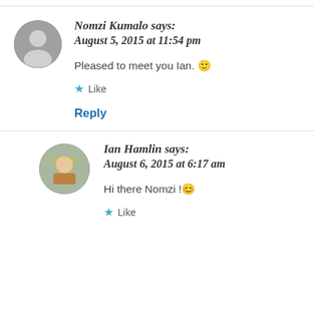[Figure (photo): Round avatar photo of Nomzi Kumalo, black and white portrait]
Nomzi Kumalo says:
August 5, 2015 at 11:54 pm
Pleased to meet you Ian. 🙂
★ Like
Reply
[Figure (photo): Round avatar photo of Ian Hamlin, man with hat and glasses outdoors]
Ian Hamlin says:
August 6, 2015 at 6:17 am
Hi there Nomzi !😊
★ Like